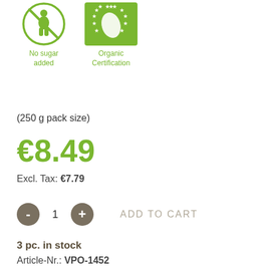[Figure (illustration): Two green certification icons: a no-sugar-added icon (circle with crossed-out sugar figure) and an organic certification icon (green square with EU organic stars leaf logo)]
No sugar added
Organic Certification
(250 g pack size)
€8.49
Excl. Tax: €7.79
- 1 + ADD TO CART
3 pc. in stock
Article-Nr.: VPO-1452